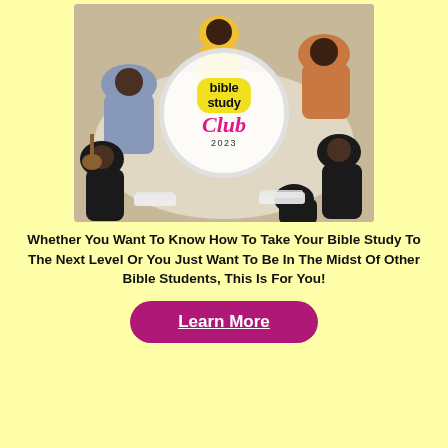[Figure (photo): A group of people sitting in a circle on the floor for a Bible study session, with an overlaid circular logo reading 'bible study Club 2023' on a yellow badge with pink script lettering.]
Whether You Want To Know How To Take Your Bible Study To The Next Level Or You Just Want To Be In The Midst Of Other Bible Students, This Is For You!
Learn More